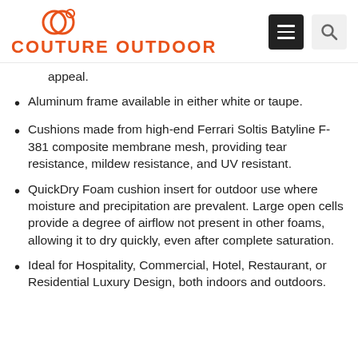COUTURE OUTDOOR
appeal.
Aluminum frame available in either white or taupe.
Cushions made from high-end Ferrari Soltis Batyline F-381 composite membrane mesh, providing tear resistance, mildew resistance, and UV resistant.
QuickDry Foam cushion insert for outdoor use where moisture and precipitation are prevalent. Large open cells provide a degree of airflow not present in other foams, allowing it to dry quickly, even after complete saturation.
Ideal for Hospitality, Commercial, Hotel, Restaurant, or Residential Luxury Design, both indoors and outdoors.